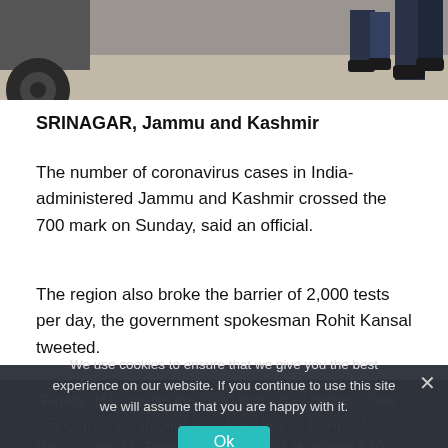[Figure (photo): Photo strip showing a truck tire on the left and feet/legs of people walking on a dusty road]
SRINAGAR, Jammu and Kashmir
The number of coronavirus cases in India-administered Jammu and Kashmir crossed the 700 mark on Sunday, said an official.
The region also broke the barrier of 2,000 tests per day, the government spokesman Rohit Kansal tweeted.
"Finally J&K breaks the 2000 test a day barrier. Over 2,500 tests conducted in a day. New positives 35; Recoveries 33. Total Cases now 701 (Kashmir 640, Jammu 61)," he wrote.
We use cookies to ensure that we give you the best experience on our website. If you continue to use this site we will assume that you are happy with it.
As of now, the region has witnessed eight deaths and 287